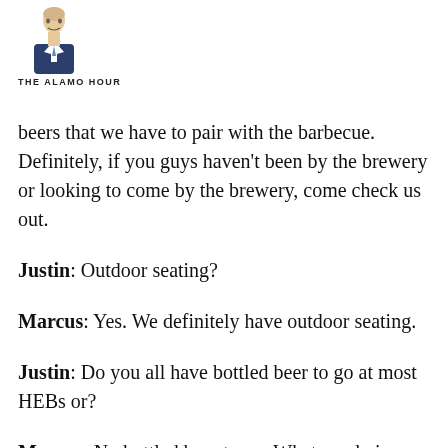THE ALAMO HOUR
beers that we have to pair with the barbecue. Definitely, if you guys haven't been by the brewery or looking to come by the brewery, come check us out.
Justin: Outdoor seating?
Marcus: Yes. We definitely have outdoor seating.
Justin: Do you all have bottled beer to go at most HEBs or?
Marcus: No bottled beer to go. What we do is within the taproom, we always have beer